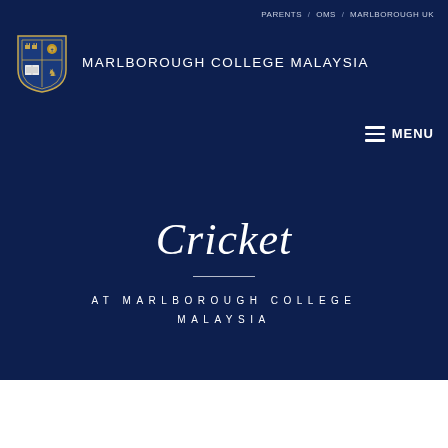PARENTS / OMS / MARLBOROUGH UK
[Figure (logo): Marlborough College Malaysia coat of arms crest shield logo]
MARLBOROUGH COLLEGE MALAYSIA
≡ MENU
Cricket
AT MARLBOROUGH COLLEGE MALAYSIA